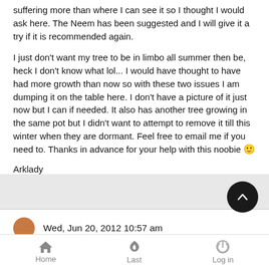suffering more than where I can see it so I thought I would ask here. The Neem has been suggested and I will give it a try if it is recommended again.
I just don't want my tree to be in limbo all summer then be, heck I don't know what lol... I would have thought to have had more growth than now so with these two issues I am dumping it on the table here. I don't have a picture of it just now but I can if needed. It also has another tree growing in the same pot but I didn't want to attempt to remove it till this winter when they are dormant. Feel free to email me if you need to. Thanks in advance for your help with this noobie 🙂
Arklady
Wed, Jun 20, 2012 10:57 am
Home   Last   Log in